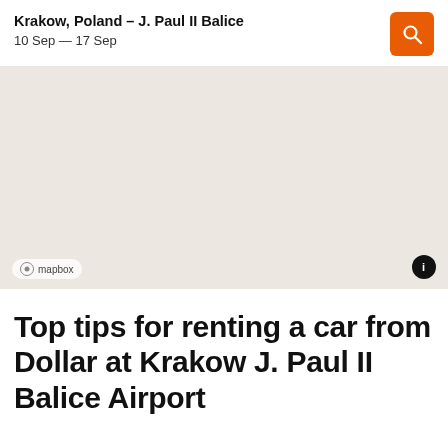Krakow, Poland – J. Paul II Balice
10 Sep — 17 Sep
[Figure (map): A blank beige/tan map view showing the area around Krakow J. Paul II Balice Airport. The map has a Mapbox attribution logo and text in the bottom left, and an info button in the bottom right.]
Top tips for renting a car from Dollar at Krakow J. Paul II Balice Airport